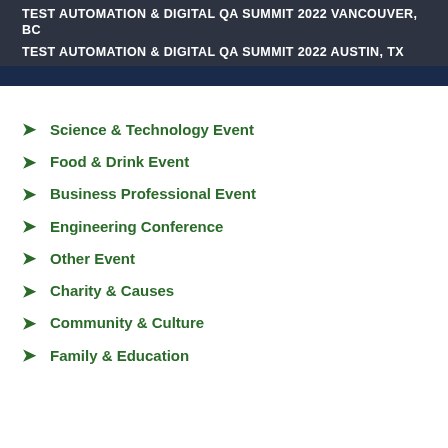TEST AUTOMATION & DIGITAL QA SUMMIT 2022 VANCOUVER, BC
TEST AUTOMATION & DIGITAL QA SUMMIT 2022 AUSTIN, TX
Science & Technology Event
Food & Drink Event
Business Professional Event
Engineering Conference
Other Event
Charity & Causes
Community & Culture
Family & Education